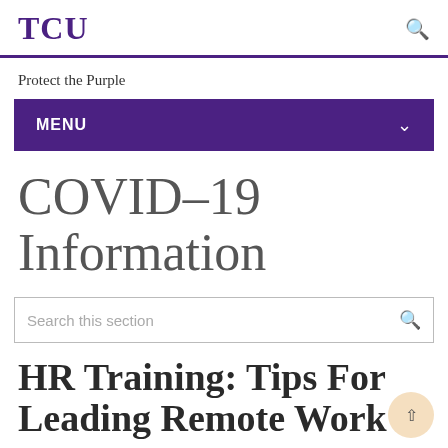TCU
Protect the Purple
MENU
COVID-19 Information
Search this section
HR Training: Tips For Leading Remote Work